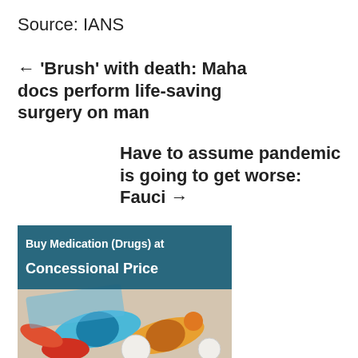Source: IANS
← 'Brush' with death: Maha docs perform life-saving surgery on man
Have to assume pandemic is going to get worse: Fauci →
[Figure (illustration): Advertisement image showing medication pills and capsules with text 'Buy Medication (Drugs) at Concessional Price' on a teal/dark blue banner overlay]
Powered by www.medwonders.com